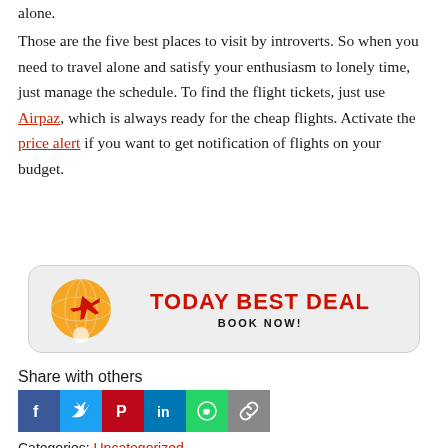alone.
Those are the five best places to visit by introverts. So when you need to travel alone and satisfy your enthusiasm to lonely time, just manage the schedule. To find the flight tickets, just use Airpaz, which is always ready for the cheap flights. Activate the price alert if you want to get notification of flights on your budget.
[Figure (infographic): TODAY BEST DEAL banner with orange globe and airplane icon, red bold title text and BOOK NOW! subtitle]
Share with others
[Figure (infographic): Social share icons: Facebook (blue), Twitter (blue), Pinterest (red), LinkedIn (blue), WhatsApp (green), Copy link (grey)]
Categories: Uncategorized